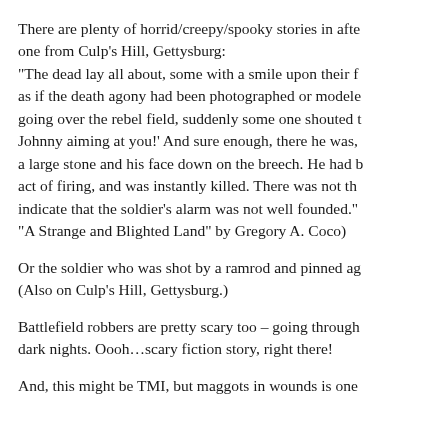There are plenty of horrid/creepy/spooky stories in afte one from Culp’s Hill, Gettysburg: “The dead lay all about, some with a smile upon their f as if the death agony had been photographed or modele going over the rebel field, suddenly some one shouted t Johnny aiming at you!’ And sure enough, there he was, a large stone and his face down on the breech. He had b act of firing, and was instantly killed. There was not th indicate that the soldier’s alarm was not well founded.” “A Strange and Blighted Land” by Gregory A. Coco)
Or the soldier who was shot by a ramrod and pinned ag (Also on Culp’s Hill, Gettysburg.)
Battlefield robbers are pretty scary too – going through dark nights. Oooh…scary fiction story, right there!
And, this might be TMI, but maggots in wounds is one